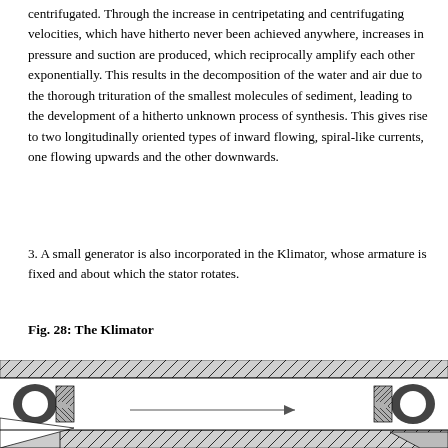centrifugated. Through the increase in centripetating and centrifugating velocities, which have hitherto never been achieved anywhere, increases in pressure and suction are produced, which reciprocally amplify each other exponentially. This results in the decomposition of the water and air due to the thorough trituration of the smallest molecules of sediment, leading to the development of a hitherto unknown process of synthesis. This gives rise to two longitudinally oriented types of inward flowing, spiral-like currents, one flowing upwards and the other downwards.
3. A small generator is also incorporated in the Klimator, whose armature is fixed and about which the stator rotates.
Fig. 28: The Klimator
[Figure (engineering-diagram): Cross-sectional engineering diagram of the Klimator device showing hatched walls, mechanical components, and a horizontal arrow indicating flow direction.]